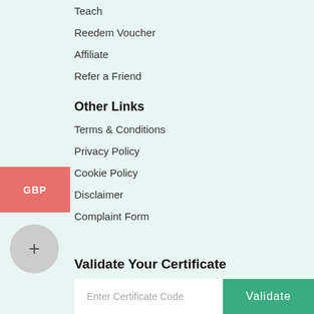Teach
Reedem Voucher
Affiliate
Refer a Friend
Other Links
Terms & Conditions
Privacy Policy
Cookie Policy
Disclaimer
Complaint Form
Validate Your Certificate
Enter Certificate Code
Validate